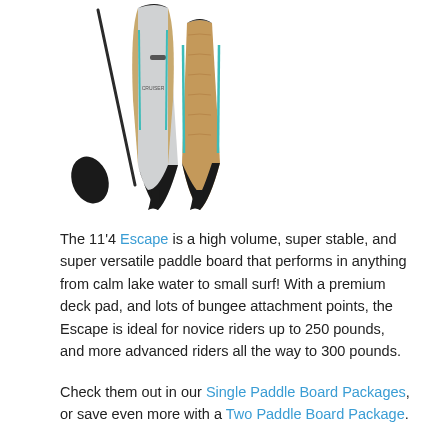[Figure (photo): Two paddle boards (Cruiser SUP Escape 11'4) shown side by side with a paddle leaning against them. Boards have a wood-grain and grey design with teal accents and fins visible at the bottom.]
The 11'4 Escape is a high volume, super stable, and super versatile paddle board that performs in anything from calm lake water to small surf! With a premium deck pad, and lots of bungee attachment points, the Escape is ideal for novice riders up to 250 pounds, and more advanced riders all the way to 300 pounds.
Check them out in our Single Paddle Board Packages, or save even more with a Two Paddle Board Package.